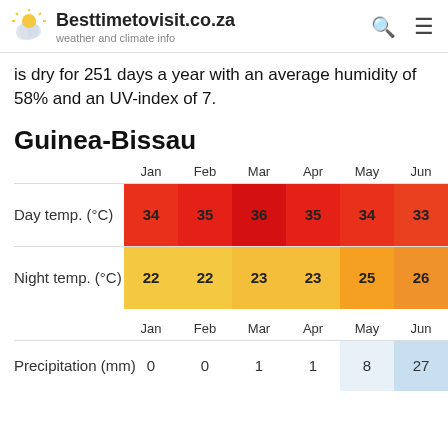Besttimetovisit.co.za — weather and climate info
is dry for 251 days a year with an average humidity of 58% and an UV-index of 7.
Guinea-Bissau
|  | Jan | Feb | Mar | Apr | May | Jun |
| --- | --- | --- | --- | --- | --- | --- |
| Day temp. (°C) | 34 | 35 | 36 | 35 | 34 | 33 |
| Night temp. (°C) | 22 | 22 | 23 | 23 | 25 | 26 |
|  | Jan | Feb | Mar | Apr | May | Jun |
| --- | --- | --- | --- | --- | --- | --- |
| Precipitation (mm) | 0 | 0 | 1 | 1 | 8 | 27 |